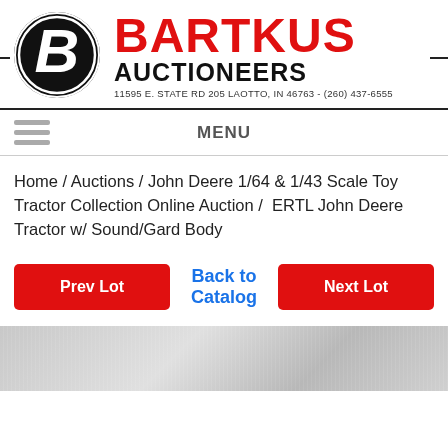[Figure (logo): Bartkus Auctioneers logo with a stylized B in an oval and red BARTKUS text with black AUCTIONEERS below, address: 11595 E. STATE RD 205 LAOTTO, IN 46763 - (260) 437-6555]
MENU
Home / Auctions / John Deere 1/64 & 1/43 Scale Toy Tractor Collection Online Auction /  ERTL John Deere Tractor w/ Sound/Gard Body
Prev Lot
Back to Catalog
Next Lot
[Figure (photo): Gray/silver textured background image, partial view at the bottom of the page]